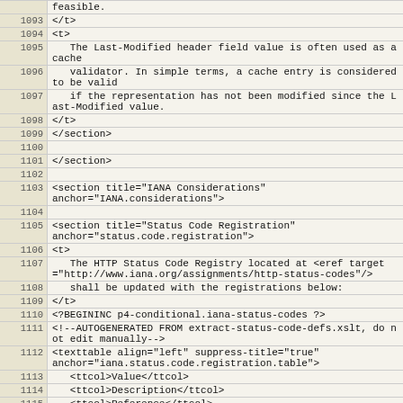Code listing lines 1093-1116 of an XML document (RFC/HTTP spec source)
| Line | Code |
| --- | --- |
|  | feasible. |
| 1093 | </t> |
| 1094 | <t> |
| 1095 |    The Last-Modified header field value is often used as a cache |
| 1096 |    validator. In simple terms, a cache entry is considered to be valid |
| 1097 |    if the representation has not been modified since the Last-Modified value. |
| 1098 | </t> |
| 1099 | </section> |
| 1100 |  |
| 1101 | </section> |
| 1102 |  |
| 1103 | <section title="IANA Considerations" anchor="IANA.considerations"> |
| 1104 |  |
| 1105 | <section title="Status Code Registration" anchor="status.code.registration"> |
| 1106 | <t> |
| 1107 |    The HTTP Status Code Registry located at <eref target="http://www.iana.org/assignments/http-status-codes"/> |
| 1108 |    shall be updated with the registrations below: |
| 1109 | </t> |
| 1110 | <?BEGININC p4-conditional.iana-status-codes ?> |
| 1111 | <!--AUTOGENERATED FROM extract-status-code-defs.xslt, do not edit manually--> |
| 1112 | <texttable align="left" suppress-title="true" anchor="iana.status.code.registration.table"> |
| 1113 |    <ttcol>Value</ttcol> |
| 1114 |    <ttcol>Description</ttcol> |
| 1115 |    <ttcol>Reference</ttcol> |
| 1116 |    <c>304</c> |